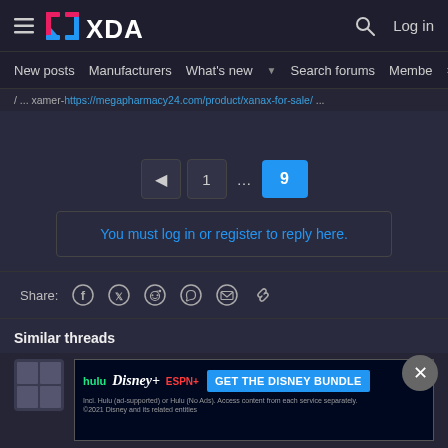XDA Forums - Navigation header with hamburger menu, XDA logo, search and Log in
New posts   Manufacturers   What's new   Search forums   Membe  >
/ ... xamer-https://megapharmacy24.com/product/xanax-for-sale/ ...
Pagination: back arrow, 1, ..., 9 (active)
You must log in or register to reply here.
Share: [Facebook] [Twitter] [Reddit] [WhatsApp] [Email] [Link]
Similar threads
[Figure (screenshot): Disney Bundle advertisement banner showing Hulu, Disney+, ESPN+ logos with GET THE DISNEY BUNDLE call to action]
Replies 84 · Views 41K · 12 participants · Latest: Jul 16, 202...